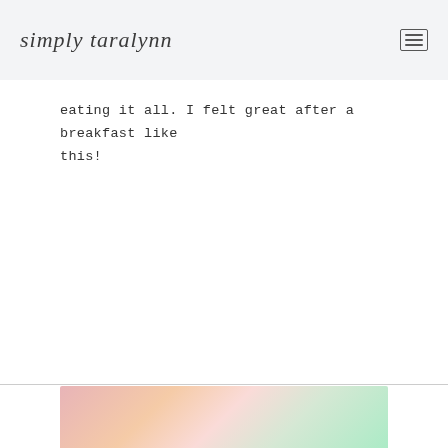simply taralynn
eating it all. I felt great after a breakfast like this!
[Figure (photo): A colorful food photo partially visible at the bottom of the page, showing what appears to be a breakfast spread with various colorful food items.]